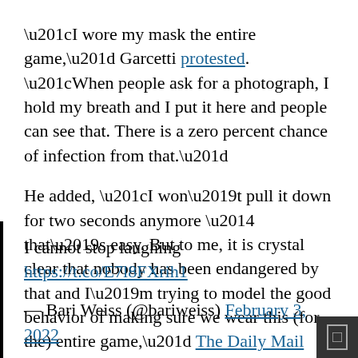“I wore my mask the entire game,” Garcetti protested. “When people ask for a photograph, I hold my breath and I put it here and people can see that. There is a zero percent chance of infection from that.”
He added, “I won’t pull it down for two seconds anymore — that’s easy. But to me, it is crystal clear that nobody has been endangered by that and I’m trying to model the good behavior of making sure we wear this (for the) entire game,” The Daily Mail noted.
Garcetti was widely mocked on social media after the NFC Championship game :
I cannot stop laughing https://t.co/E7l8FXrih1
— Bari Weiss (@bariweiss) February 3, 2022